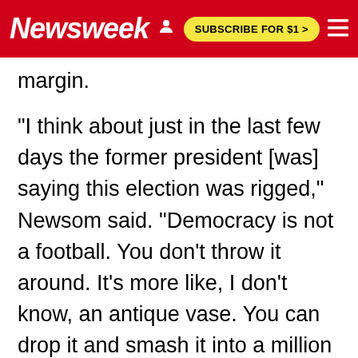Newsweek | SUBSCRIBE FOR $1 >
margin.
"I think about just in the last few days the former president [was] saying this election was rigged," Newsom said. "Democracy is not a football. You don't throw it around. It's more like, I don't know, an antique vase. You can drop it and smash it into a million different pieces. And that's what we're capable of doing if we don't stand up to meet the moment and push back."